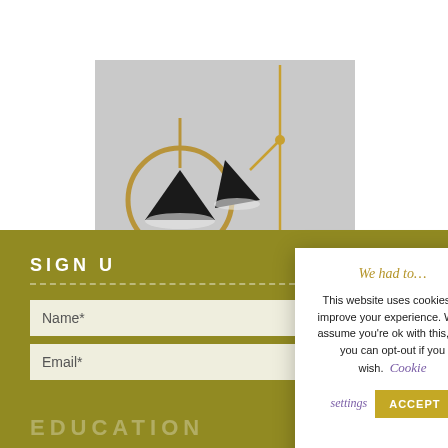[Figure (photo): A photograph of two designer floor lamps with black cone-shaped shades and brass/gold arched frames, against a light grey background.]
SIGN U
Name*
Email*
EDUCATION
We had to…
This website uses cookies to improve your experience. We'll assume you're ok with this, but you can opt-out if you wish. Cookie settings ACCEPT